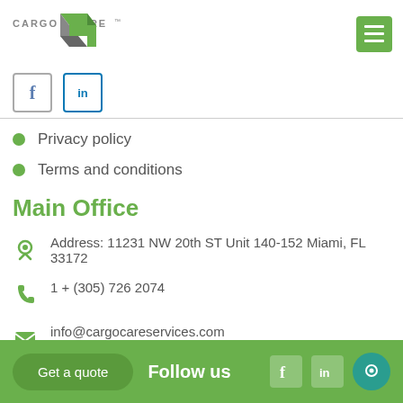[Figure (logo): Cargo Care logo with green cube icon and text]
[Figure (infographic): Social media icons: Facebook and LinkedIn]
Privacy policy
Terms and conditions
Main Office
Address: 11231 NW 20th ST Unit 140-152 Miami, FL 33172
1 + (305) 726 2074
info@cargocareservices.com
Get a quote   Follow us